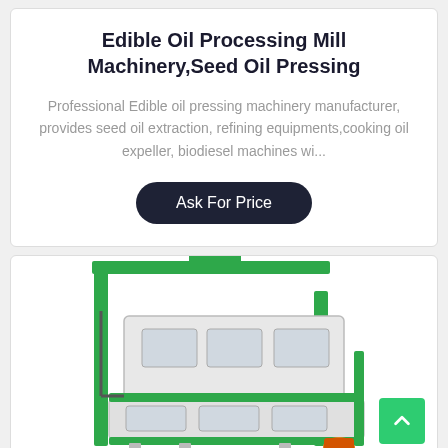Edible Oil Processing Mill Machinery,Seed Oil Pressing
Professional Edible oil pressing machinery manufacturer, provides seed oil extraction, refining equipments,cooking oil expeller, biodiesel machines wi...
Ask For Price
[Figure (photo): Industrial seed oil processing mill machinery with green metal frame and white body, multiple viewing windows, mechanical components]